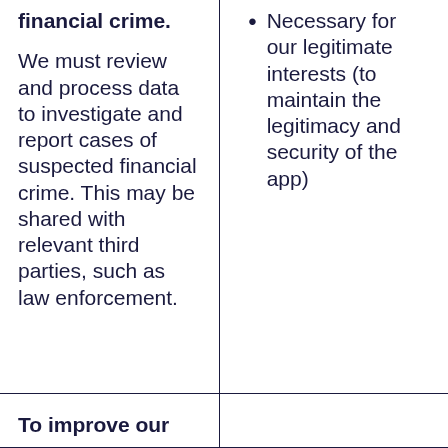financial crime.
We must review and process data to investigate and report cases of suspected financial crime. This may be shared with relevant third parties, such as law enforcement.
Necessary for our legitimate interests (to maintain the legitimacy and security of the app)
To improve our